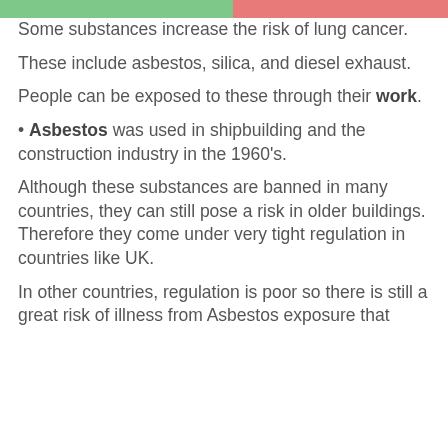Some substances increase the risk of lung cancer.
These include asbestos, silica, and diesel exhaust.
People can be exposed to these through their work.
• Asbestos was used in shipbuilding and the construction industry in the 1960’s.
Although these substances are banned in many countries, they can still pose a risk in older buildings. Therefore they come under very tight regulation in countries like UK.
In other countries, regulation is poor so there is still a great risk of illness from Asbestos exposure that